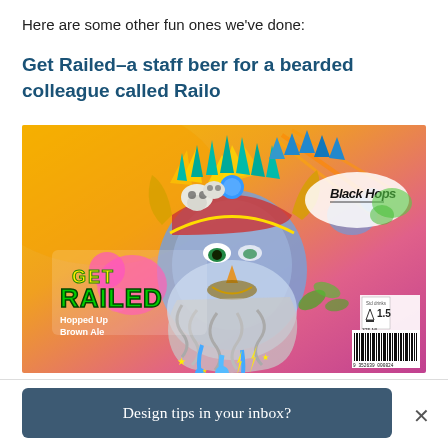Here are some other fun ones we've done:
Get Railed–a staff beer for a bearded colleague called Railo
[Figure (illustration): Colorful beer label illustration for 'Get Railed Hopped Up Brown Ale' by Black Hops. Features a vibrant psychedelic bearded man character with skulls and spiky crown on a yellow-to-pink gradient background. Label includes Black Hops logo, barcode, 375mL, 5.4% ALC/VOL.]
Design tips in your inbox?